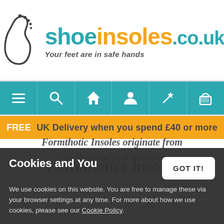[Figure (logo): shoeinsoles.co.uk logo with foot icon and tagline 'Your feet are in safe hands']
[Figure (infographic): Teal navigation bar with icons: hamburger menu, search, home, person, magic wand, shopping basket]
FREE UK Delivery when you spend £40 or more
Formthotics Insoles
Cookies and You
We use cookies on this website. You are free to manage these via your browser settings at any time. For more about how we use cookies, please see our Cookie Policy.
GOT IT!
Formthotic Insoles originate from New Zealand and now ship